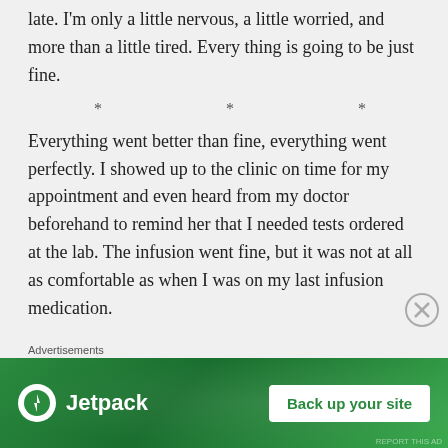late. I'm only a little nervous, a little worried, and more than a little tired. Every thing is going to be just fine.
* * *
Everything went better than fine, everything went perfectly. I showed up to the clinic on time for my appointment and even heard from my doctor beforehand to remind her that I needed tests ordered at the lab. The infusion went fine, but it was not at all as comfortable as when I was on my last infusion medication.
This medication only takes 30 minutes where the last one was over 2 hours. When I was on the 2 hour medication I got to sit in the large open room with big windows and gorgeous mountain views but now that I'm on the 30
Advertisements
[Figure (other): Jetpack advertisement banner with logo and 'Back up your site' button on green background]